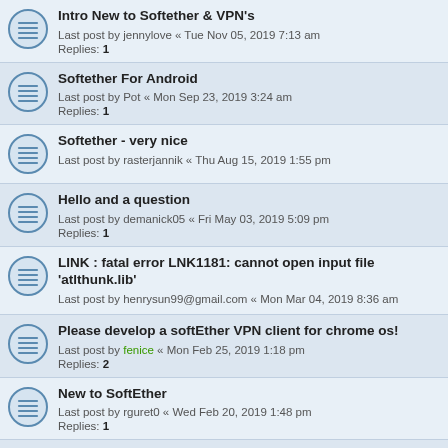Intro New to Softether & VPN's
Last post by jennylove « Tue Nov 05, 2019 7:13 am
Replies: 1
Softether For Android
Last post by Pot « Mon Sep 23, 2019 3:24 am
Replies: 1
Softether - very nice
Last post by rasterjannik « Thu Aug 15, 2019 1:55 pm
Hello and a question
Last post by demanick05 « Fri May 03, 2019 5:09 pm
Replies: 1
LINK : fatal error LNK1181: cannot open input file 'atlthunk.lib'
Last post by henrysun99@gmail.com « Mon Mar 04, 2019 8:36 am
Please develop a softEther VPN client for chrome os!
Last post by fenice « Mon Feb 25, 2019 1:18 pm
Replies: 2
New to SoftEther
Last post by rguret0 « Wed Feb 20, 2019 1:48 pm
Replies: 1
Real IP adress
Last post by Flipash « Tue Feb 19, 2019 11:59 am
Replies: 2
Does anyone know how to find some good software developers?
Last post by Rnango02 « Fri Feb 15, 2019 3:06 pm
Replies: 3
New user - Hello
Last post by Rnango02 « Tue Dec 18, 2018 4:33 pm